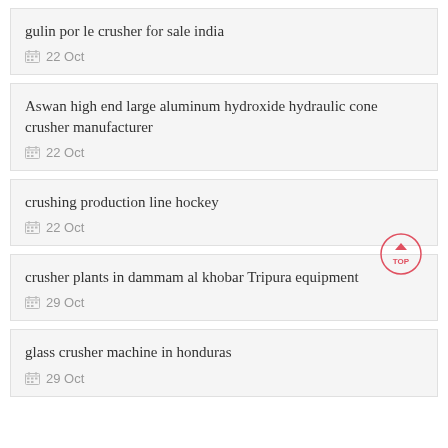gulin por le crusher for sale india
22 Oct
Aswan high end large aluminum hydroxide hydraulic cone crusher manufacturer
22 Oct
crushing production line hockey
22 Oct
crusher plants in dammam al khobar Tripura equipment
29 Oct
glass crusher machine in honduras
29 Oct